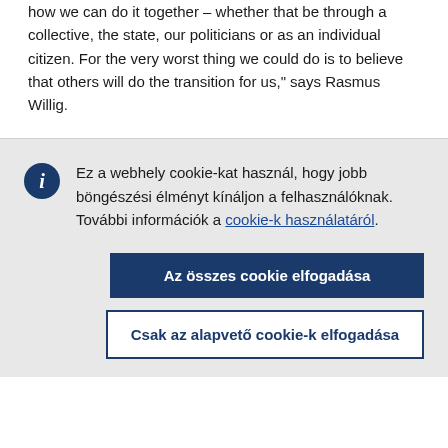how we can do it together – whether that be through a collective, the state, our politicians or as an individual citizen. For the very worst thing we could do is to believe that others will do the transition for us," says Rasmus Willig.
Ez a webhely cookie-kat használ, hogy jobb böngészési élményt kínáljon a felhasználóknak. További információk a cookie-k használatáról.
Az összes cookie elfogadása
Csak az alapvető cookie-k elfogadása